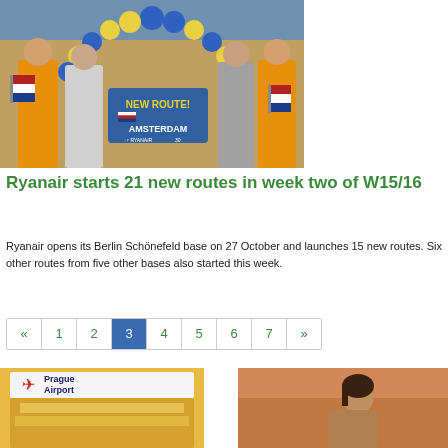[Figure (photo): Group photo at Ryanair event with 'NEW ROUTE! AMSTERDAM' sign, blue and yellow balloon arch in background, people holding Dutch flags]
Ryanair starts 21 new routes in week two of W15/16
Ryanair opens its Berlin Schönefeld base on 27 October and launches 15 new routes. Six other routes from five other bases also started this week.
« 1 2 3 4 5 6 7 »
[Figure (logo): Prague Airport logo with red airplane icon]
[Figure (photo): Woman in profile against warm sunset/orange background]